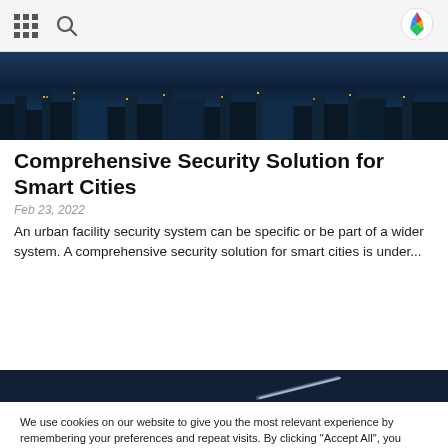[Navigation bar with grid icon, search icon, and logo]
[Figure (photo): Night cityscape photo showing illuminated buildings and city lights against a dark blue sky]
Comprehensive Security Solution for Smart Cities
Feb 23, 2022
An urban facility security system can be specific or be part of a wider system. A comprehensive security solution for smart cities is under...
[Figure (photo): Dark navy blue image strip, possibly showing a surface or sky with a diagonal light streak]
We use cookies on our website to give you the most relevant experience by remembering your preferences and repeat visits. By clicking "Accept All", you consent to the use of ALL the cookies. However, you may visit "Cookie Settings" to provide a controlled consent.